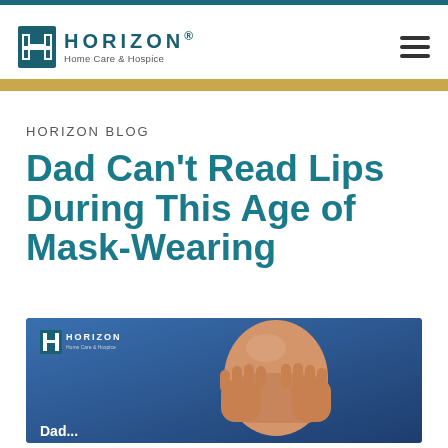HORIZON Home Care & Hospice
HORIZON BLOG
Dad Can't Read Lips During This Age of Mask-Wearing
[Figure (photo): An elderly man covering his face with his hands, overlaid with the Horizon Home Care & Hospice logo, on a blue background]